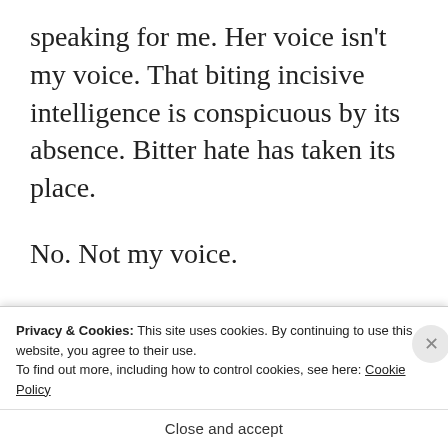speaking for me. Her voice isn't my voice. That biting incisive intelligence is conspicuous by its absence. Bitter hate has taken its place.
No. Not my voice.
This is my voice.
[Figure (other): Blue advertisement banner reading 'The only journaling app you'll ever need.']
Privacy & Cookies: This site uses cookies. By continuing to use this website, you agree to their use.
To find out more, including how to control cookies, see here: Cookie Policy
Close and accept